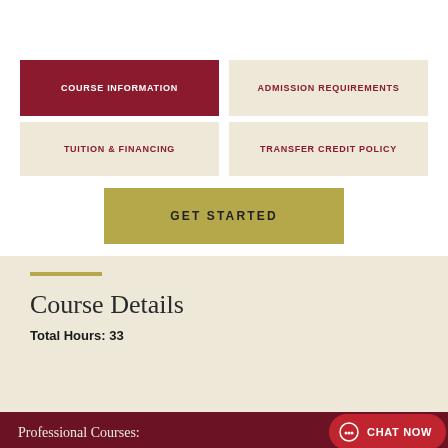COURSE INFORMATION
ADMISSION REQUIREMENTS
TUITION & FINANCING
TRANSFER CREDIT POLICY
GET STARTED
Course Details
Total Hours: 33
Professional Courses:
CHAT NOW